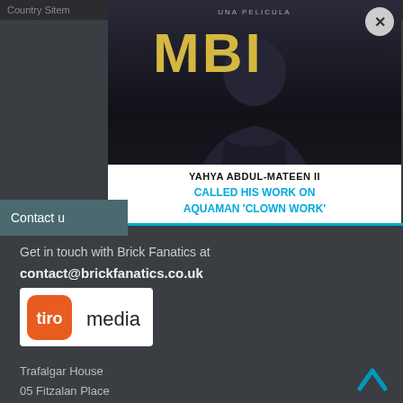Country Sitem
[Figure (screenshot): Advertisement overlay showing a movie promotion. Text reads 'UNA PELICULA' at top, large letters 'MBI' visible, person in dark clothing, white bar at bottom with text 'YAHYA ABDUL-MATEEN II CALLED HIS WORK ON AQUAMAN \u2018CLOWN WORK\u2019'. Close button (x) in top right corner.]
Contact u
Get in touch with Brick Fanatics at
contact@brickfanatics.co.uk
[Figure (logo): Tiro Media logo - orange rounded square with white 'tiro' text, followed by 'media' in dark text on white background]
Trafalgar House
05 Fitzalan Place
Cardiff

CF24 0ED